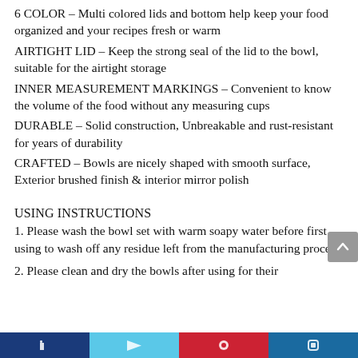6 COLOR – Multi colored lids and bottom help keep your food organized and your recipes fresh or warm
AIRTIGHT LID – Keep the strong seal of the lid to the bowl, suitable for the airtight storage
INNER MEASUREMENT MARKINGS – Convenient to know the volume of the food without any measuring cups
DURABLE – Solid construction, Unbreakable and rust-resistant for years of durability
CRAFTED – Bowls are nicely shaped with smooth surface, Exterior brushed finish & interior mirror polish
USING INSTRUCTIONS
1. Please wash the bowl set with warm soapy water before first using to wash off any residue left from the manufacturing process.
2. Please clean and dry the bowls after using for their